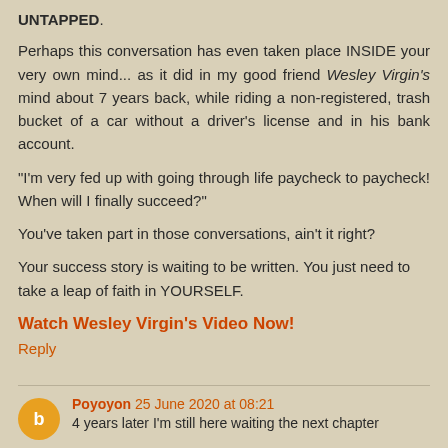UNTAPPED.
Perhaps this conversation has even taken place INSIDE your very own mind... as it did in my good friend Wesley Virgin's mind about 7 years back, while riding a non-registered, trash bucket of a car without a driver's license and in his bank account.
"I'm very fed up with going through life paycheck to paycheck! When will I finally succeed?"
You've taken part in those conversations, ain't it right?
Your success story is waiting to be written. You just need to take a leap of faith in YOURSELF.
Watch Wesley Virgin's Video Now!
Reply
Poyoyon 25 June 2020 at 08:21
4 years later I'm still here waiting the next chapter